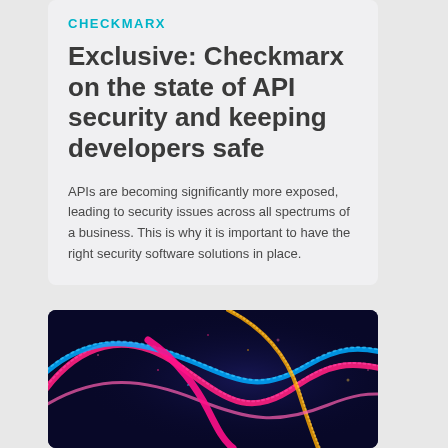CHECKMARX
Exclusive: Checkmarx on the state of API security and keeping developers safe
APIs are becoming significantly more exposed, leading to security issues across all spectrums of a business. This is why it is important to have the right security software solutions in place.
[Figure (illustration): Abstract colorful wave design with pink, blue, cyan, and orange particle waves on a dark blue background suggesting digital security or AI concept]